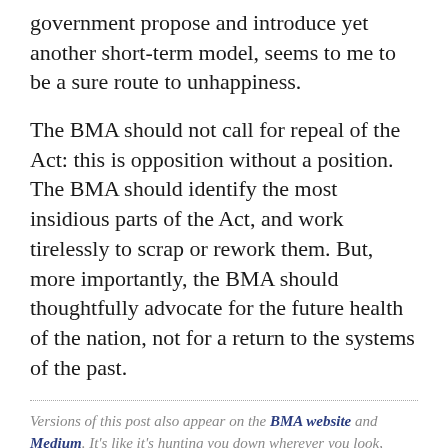government propose and introduce yet another short-term model, seems to me to be a sure route to unhappiness.
The BMA should not call for repeal of the Act: this is opposition without a position. The BMA should identify the most insidious parts of the Act, and work tirelessly to scrap or rework them. But, more importantly, the BMA should thoughtfully advocate for the future health of the nation, not for a return to the systems of the past.
Versions of this post also appear on the BMA website and Medium. It's like it's hunting you down wherever you look, begging to be read.I took the photo at the top of this post at BMA House in September 2012.